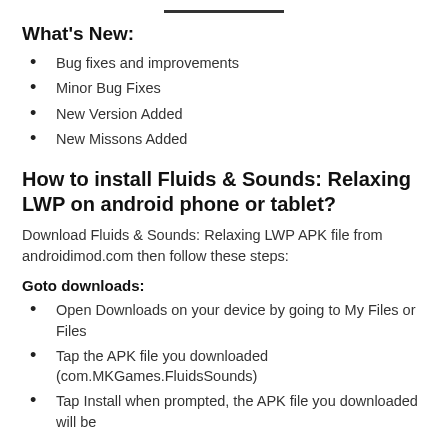What’s New:
Bug fixes and improvements
Minor Bug Fixes
New Version Added
New Missons Added
How to install Fluids & Sounds: Relaxing LWP on android phone or tablet?
Download Fluids & Sounds: Relaxing LWP APK file from androidimod.com then follow these steps:
Goto downloads:
Open Downloads on your device by going to My Files or Files
Tap the APK file you downloaded (com.MKGames.FluidsSounds)
Tap Install when prompted, the APK file you downloaded will be